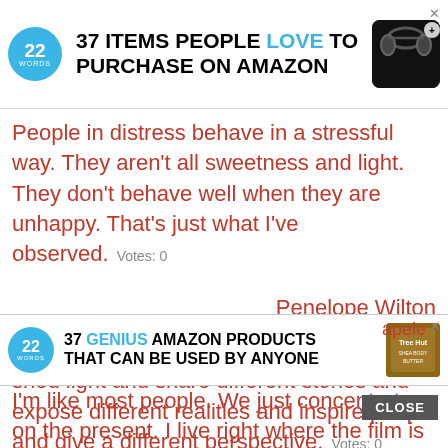[Figure (infographic): Ad banner: 22 Words logo, text '37 ITEMS PEOPLE LOVE TO PURCHASE ON AMAZON', headphone product image, close X button]
People in distress behave in a stressful way. They aren't all sweetness and light. They don't behave well when they are unhappy. That's just what I've observed.   Votes: 0
Penelope Wilton
I think as artists we have an opportunity to shed light and share different stories and expose different realities and inspire people and give a different perspective.   Votes: 0
[Figure (infographic): Ad banner: 22 Words logo, text '37 GENIUS AMAZON PRODUCTS THAT CAN BE USED BY ANYONE', Tree Hut body butter product image, X close, 'apele' attribution text]
I'm like most people. We just concentrate on the present. I live right where the film is going through the film is going through, to hit the light...